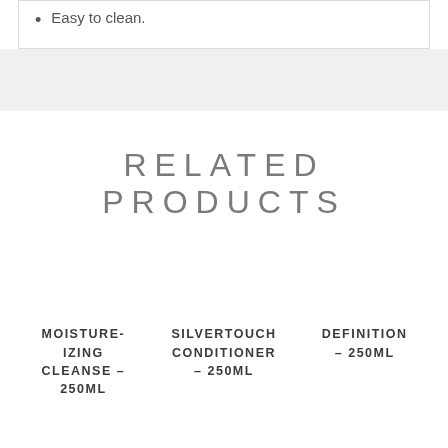Easy to clean.
RELATED PRODUCTS
MOISTURE-IZING CLEANSE – 250ML
SILVERTOUCH CONDITIONER – 250ML
DEFINITION – 250ML